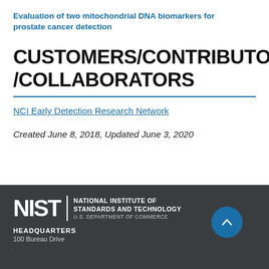Evaluation of two mitochondrial DNA biomarkers for prostate cancer detection
CUSTOMERS/CONTRIBUTORS/COLLABORATORS
NCI Early Detection Research Network
Created June 8, 2018, Updated June 3, 2020
[Figure (logo): NIST - National Institute of Standards and Technology, U.S. Department of Commerce logo with white text on dark background]
HEADQUARTERS
100 Bureau Drive